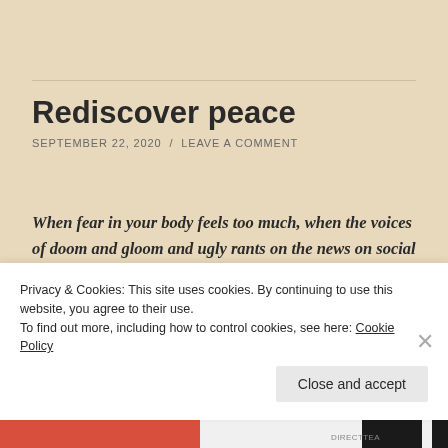Rediscover peace
SEPTEMBER 22, 2020 / LEAVE A COMMENT
When fear in your body feels too much, when the voices of doom and gloom and ugly rants on the news on social media get you down, when you can't settle, when your head is filled with anxiety, go outside if you can.
Privacy & Cookies: This site uses cookies. By continuing to use this website, you agree to their use.
To find out more, including how to control cookies, see here: Cookie Policy
Close and accept